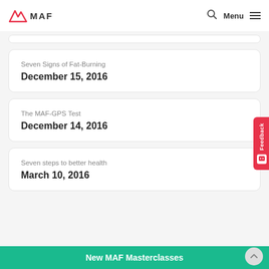MAF — Menu
Seven Signs of Fat-Burning
December 15, 2016
The MAF-GPS Test
December 14, 2016
Seven steps to better health
March 10, 2016
New MAF Masterclasses